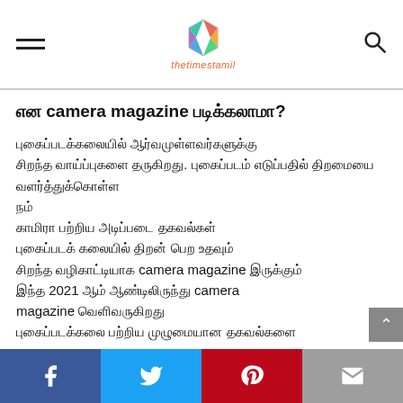thetimestamil
என camera magazine படிக்கலாமா?
புகைப்படக்கலையில் ஆர்வமுள்ளவர்களுக்கு சிறந்த வழிகாட்டியாக camera magazine இருக்கும். 2021 ஆம் ஆண்டிலிருந்து camera magazine வெளிவருகிறது.
Facebook Twitter Pinterest Mail